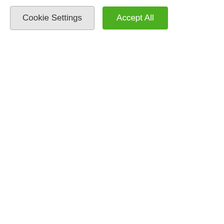for the Protection of Public Funds and Transparency in Morocco, wondered about the real reason for the statements of the Minister of Justice. procedures, whether at the level of the council of government or parliament?!" He added: "Why this prejudice against the institutions of civil society which play their role in the fight against corruption and the looting of public money? as stated in the constitutional requirements. instead of
We use cookies on our website to give you the most relevant experience by remembering your preferences and repeat visits. By clicking "Accept All", you consent to the use of ALL the cookies. However, you may visit "Cookie Settings" to provide a controlled consent.